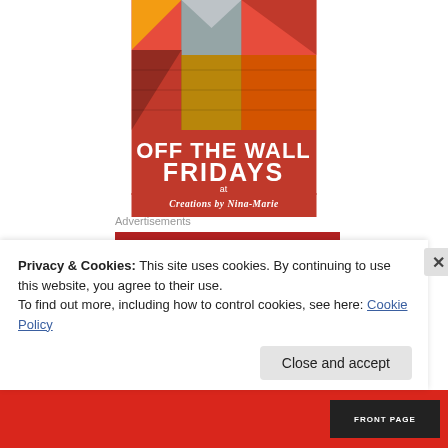[Figure (illustration): Off The Wall Fridays at Creations by Nina-Marie banner image with geometric quilt-like artwork in red, yellow, and dark tones. White bold text reads OFF THE WALL FRIDAYS at Creations by Nina-Marie]
Advertisements
[Figure (logo): Longreads advertisement banner — dark red background with circular L logo and LONGREADS text in beige/cream serif font, decorative inner rectangle border with corner accents]
Privacy & Cookies: This site uses cookies. By continuing to use this website, you agree to their use.
To find out more, including how to control cookies, see here: Cookie Policy
Close and accept